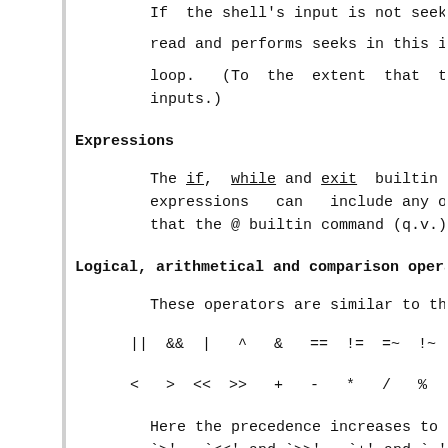If  the shell's input is not seekable, read and performs seeks in this internal loop.  (To the extent that this a inputs.)
Expressions
The if, while and exit builtin command expressions  can  include any of the op that the @ builtin command (q.v.) has i
Logical, arithmetical and comparison operat
These operators are similar to those of
|| && |  ^  &  == != =~ !~  <= < > << >> + - * / % ! ~ (
Here the precedence increases to the ri `>', `<<' and `>>', `+' and `-', `*' `/ `==' `!=' `=~' and `!~' operators compa